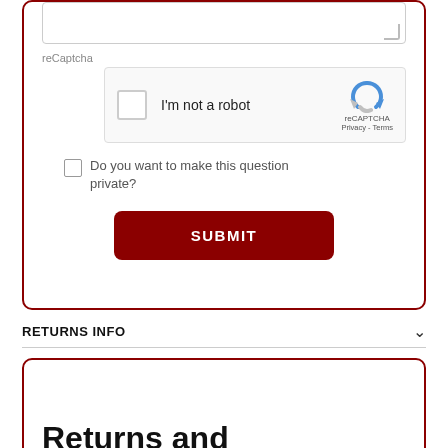[Figure (screenshot): reCAPTCHA widget with checkbox and 'I'm not a robot' text, reCAPTCHA logo, Privacy and Terms links]
reCaptcha
Do you want to make this question private?
SUBMIT
RETURNS INFO
Returns and